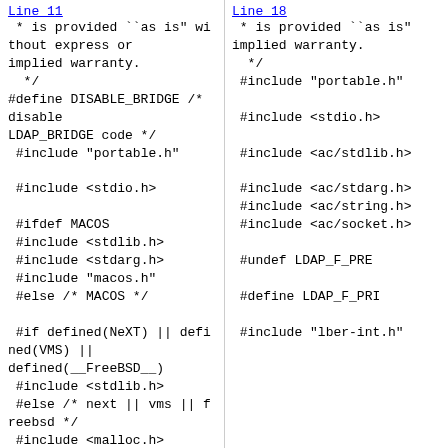Line 11
* is provided ``as is" without express or implied warranty.
  */
#define DISABLE_BRIDGE /* disable LDAP_BRIDGE code */
 #include "portable.h"

 #include <stdio.h>

 #ifdef MACOS
 #include <stdlib.h>
 #include <stdarg.h>
 #include "macos.h"
 #else /* MACOS */

 #if defined(NeXT) || defined(VMS) || defined(__FreeBSD__)
 #include <stdlib.h>
 #else /* next || vms || freebsd */
 #include <malloc.h>
 #endif /* next || vms || freebsd */
 #if defined(BC31) || defined(_WIN32)
 #include <stdarg.h>
 #else /* BC31 || WIN32 */
Line 18
* is provided ``as is" without express or implied warranty.
  */
#include "portable.h"

#include <stdio.h>

#include <ac/stdlib.h>

#include <ac/stdarg.h>
#include <ac/string.h>
#include <ac/socket.h>

#undef LDAP_F_PRE

#define LDAP_F_PRI

#include "lber-int.h"